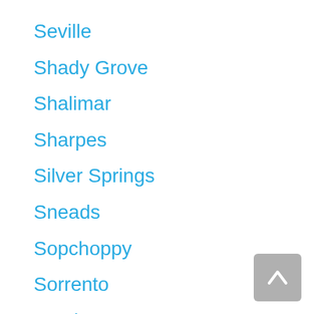Seville
Shady Grove
Shalimar
Sharpes
Silver Springs
Sneads
Sopchoppy
Sorrento
South Bay